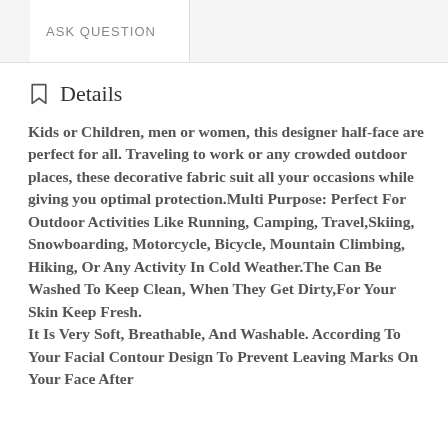ASK QUESTION
Details
Kids or Children, men or women, this designer half-face are perfect for all. Traveling to work or any crowded outdoor places, these decorative fabric suit all your occasions while giving you optimal protection.Multi Purpose: Perfect For Outdoor Activities Like Running, Camping, Travel,Skiing, Snowboarding, Motorcycle, Bicycle, Mountain Climbing, Hiking, Or Any Activity In Cold Weather.The Can Be Washed To Keep Clean, When They Get Dirty,For Your Skin Keep Fresh.
It Is Very Soft, Breathable, And Washable. According To Your Facial Contour Design To Prevent Leaving Marks On Your Face After